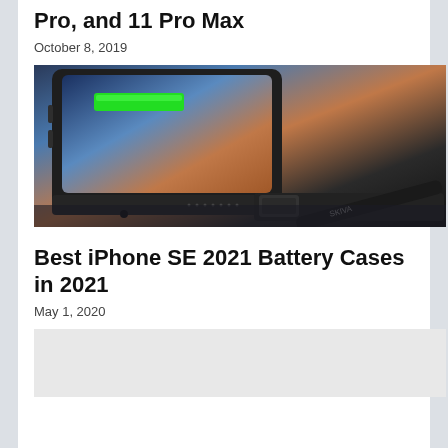Pro, and 11 Pro Max
October 8, 2019
[Figure (photo): Close-up photo of an iPhone in a battery case being charged with a Lightning cable, showing a green battery indicator on the screen, on a dark background.]
Best iPhone SE 2021 Battery Cases in 2021
May 1, 2020
[Figure (photo): Partially visible image at the bottom of the page, light gray placeholder for an article image.]